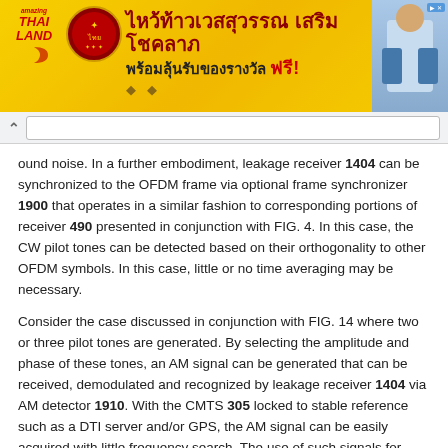[Figure (infographic): Thai advertisement banner with yellow/gold background, Thai text headings in dark red and black, logo for Amazing Thailand on left, decorative emblem, and person on right side]
ound noise. In a further embodiment, leakage receiver 1404 can be synchronized to the OFDM frame via optional frame synchronizer 1900 that operates in a similar fashion to corresponding portions of receiver 490 presented in conjunction with FIG. 4. In this case, the CW pilot tones can be detected based on their orthogonality to other OFDM symbols. In this case, little or no time averaging may be necessary.
Consider the case discussed in conjunction with FIG. 14 where two or three pilot tones are generated. By selecting the amplitude and phase of these tones, an AM signal can be generated that can be received, demodulated and recognized by leakage receiver 1404 via AM detector 1910. With the CMTS 305 locked to stable reference such as a DTI server and/or GPS, the AM signal can be easily acquired with little frequency search. The use of such signals for egress monitoring promotes easy reception and measurement by simple, standard field equipment.
As discussed in conjunction with FIG. 18, CW pilots can be inserted via IFFT 406 in the midst of the OFDM data subcarriers—optionally with no guard band around the pilots. Consider the case with a 4K IFFT, CP=256, and Window=128 and 15 continuous pilots inserted with 2× pilot boosting; 8